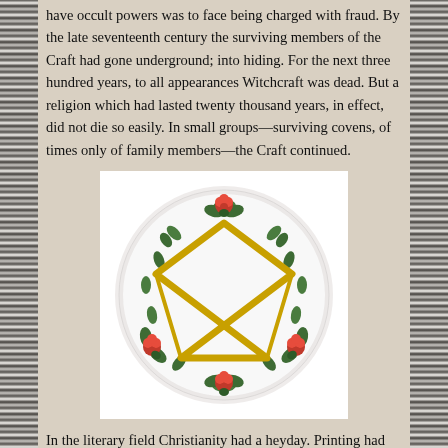have occult powers was to face being charged with fraud. By the late seventeenth century the surviving members of the Craft had gone underground; into hiding. For the next three hundred years, to all appearances Witchcraft was dead. But a religion which had lasted twenty thousand years, in effect, did not die so easily. In small groups—surviving covens, of times only of family members—the Craft continued.
[Figure (illustration): A decorative ceramic plate featuring a gold pentagram star in the center, surrounded by a wreath of green leaves and red roses. The plate is white with a circular floral border design.]
In the literary field Christianity had a heyday. Printing had